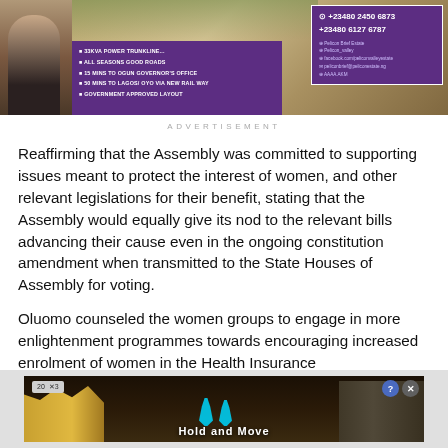[Figure (photo): Top advertisement banner for Pelicon Valley Estate featuring a purple background with bullet points listing estate features (33KVA Power Trunkline, All Seasons Good Roads, 15 Mins to Ogun Governor's Office, 50 Mins to Lagos/Oyo via New Rail Way, Government Approved Layout) and contact details (+23480 2450 6873, +23480 6127 6787)]
ADVERTISEMENT
Reaffirming that the Assembly was committed to supporting issues meant to protect the interest of women, and other relevant legislations for their benefit, stating that the Assembly would equally give its nod to the relevant bills advancing their cause even in the ongoing constitution amendment when transmitted to the State Houses of Assembly for voting.
Oluomo counseled the women groups to engage in more enlightenment programmes towards encouraging increased enrolment of women in the Health Insurance
[Figure (photo): Bottom advertisement banner showing 'Hold and Move' with two figures walking on a dark outdoor scene with trees, featuring a counter showing '20' and 'X3', a help button and close button]